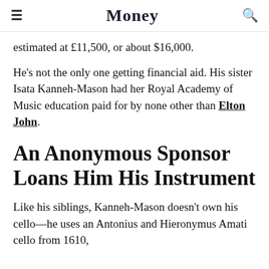Money
estimated at £11,500, or about $16,000.
He's not the only one getting financial aid. His sister Isata Kanneh-Mason had her Royal Academy of Music education paid for by none other than Elton John.
An Anonymous Sponsor Loans Him His Instrument
Like his siblings, Kanneh-Mason doesn't own his cello—he uses an Antonius and Hieronymus Amati cello from 1610,